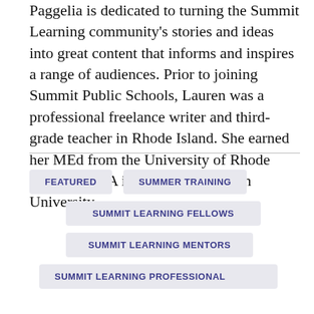Paggelia is dedicated to turning the Summit Learning community's stories and ideas into great content that informs and inspires a range of audiences. Prior to joining Summit Public Schools, Lauren was a professional freelance writer and third-grade teacher in Rhode Island. She earned her MEd from the University of Rhode Island and BA in English from Elon University.
FEATURED
SUMMER TRAINING
SUMMIT LEARNING FELLOWS
SUMMIT LEARNING MENTORS
SUMMIT LEARNING PROFESSIONAL